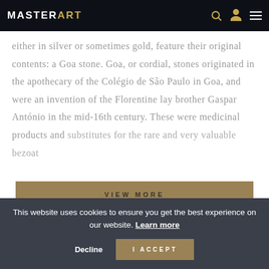MASTERART
either in silver or sometimes gold, feature their original contents: a Goa stone. Goa, or cordial, stones originated in the apothecary of the Colégio de São Paulo in Goa, and were an invention of the Florentine lay brother Gaspar António in the mid-16th century. These were medicinal products and substitutes for the rare and very valuable bezoar
VIEW MORE
This website uses cookies to ensure you get the best experience on our website. Learn more
Decline
I ACCEPT